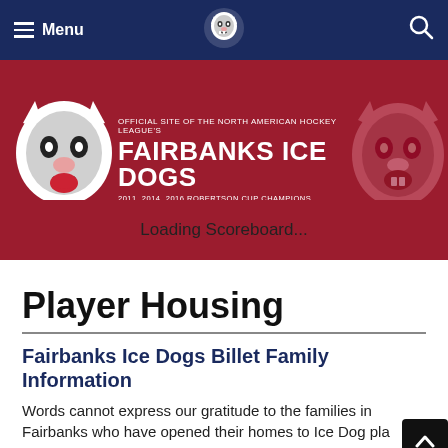Menu | Fairbanks Ice Dogs Logo | Search
[Figure (screenshot): Fairbanks Ice Dogs official NAHL team banner with wolf mascot logos on left and right, red background, text: OFFICIAL SITE OF THE NORTH AMERICAN HOCKEY LEAGUE'S FAIRBANKS ICE DOGS 2011, 2014, 2016 ROBERTSON CUP CHAMPIONS]
Loading Scoreboard...
Player Housing
Fairbanks Ice Dogs Billet Family Information
Words cannot express our gratitude to the families in Fairbanks who have opened their homes to Ice Dog players. Billet families. Billet families are an integral part of